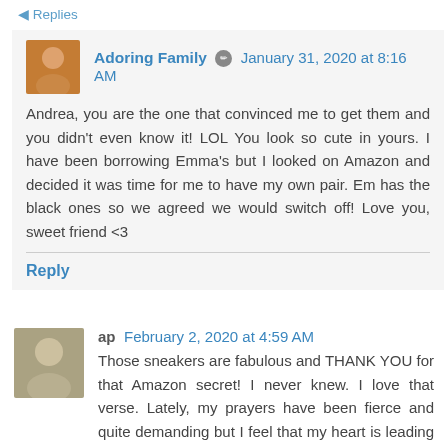Replies
Adoring Family · January 31, 2020 at 8:16 AM
Andrea, you are the one that convinced me to get them and you didn't even know it! LOL You look so cute in yours. I have been borrowing Emma's but I looked on Amazon and decided it was time for me to have my own pair. Em has the black ones so we agreed we would switch off! Love you, sweet friend <3
Reply
ap February 2, 2020 at 4:59 AM
Those sneakers are fabulous and THANK YOU for that Amazon secret! I never knew. I love that verse. Lately, my prayers have been fierce and quite demanding but I feel that my heart is leading it - I continually pray out to God - Lead ME! I'm going through a season and I know I have to